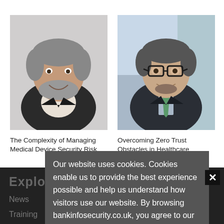[Figure (photo): Headshot of a middle-aged man with gray hair and beard wearing a dark jacket, against a light background]
[Figure (photo): Headshot of a man with glasses wearing a dark suit and green tie, against a blurred indoor background]
The Complexity of Managing Medical Device Security Risk
Overcoming Zero Trust Obstacles in Healthcare
Our website uses cookies. Cookies enable us to provide the best experience possible and help us understand how visitors use our website. By browsing bankinfosecurity.co.uk, you agree to our use of cookies.
Explore
About
News
Editorial
Training
Board of Advisers